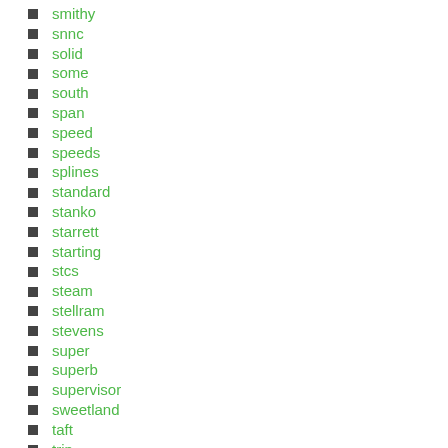smithy
snnc
solid
some
south
span
speed
speeds
splines
standard
stanko
starrett
starting
stcs
steam
stellram
stevens
super
superb
supervisor
sweetland
taft
trin